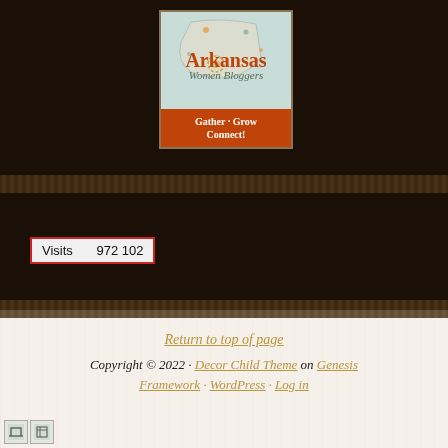[Figure (logo): Arkansas Women Bloggers logo with teal Arkansas state outline, orange 'Arkansas' text, cursive 'Women Bloggers' text, and orange banner reading 'Gather · Grow Connect!']
Visits 972 102
Return to top of page
Copyright © 2022 · Decor Child Theme on Genesis Framework · WordPress · Log in